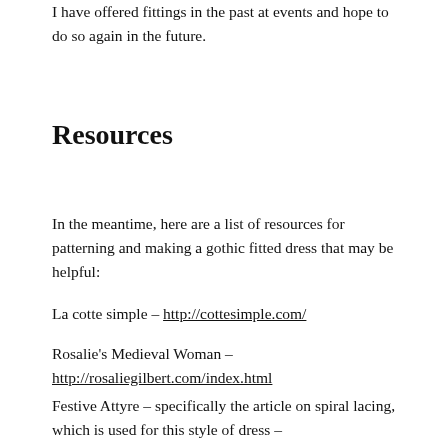I have offered fittings in the past at events and hope to do so again in the future.
Resources
In the meantime, here are a list of resources for patterning and making a gothic fitted dress that may be helpful:
La cotte simple – http://cottesimple.com/
Rosalie's Medieval Woman – http://rosaliegilbert.com/index.html
Festive Attyre – specifically the article on spiral lacing, which is used for this style of dress – http://www.festiveattyre.com/p/the-zen-of-spiral-